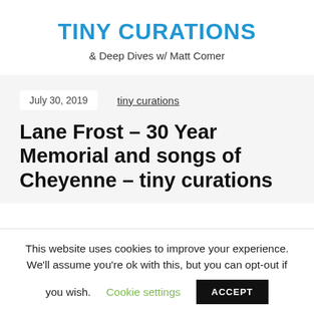TINY CURATIONS
& Deep Dives w/ Matt Comer
July 30, 2019    tiny curations
Lane Frost – 30 Year Memorial and songs of Cheyenne – tiny curations
This website uses cookies to improve your experience. We'll assume you're ok with this, but you can opt-out if you wish. Cookie settings  ACCEPT